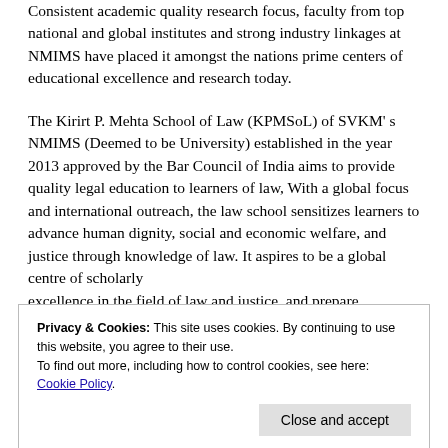Consistent academic quality research focus, faculty from top national and global institutes and strong industry linkages at NMIMS have placed it amongst the nations prime centers of educational excellence and research today.
The Kirirt P. Mehta School of Law (KPMSoL) of SVKM' s NMIMS (Deemed to be University) established in the year 2013 approved by the Bar Council of India aims to provide quality legal education to learners of law, With a global focus and international outreach, the law school sensitizes learners to advance human dignity, social and economic welfare, and justice through knowledge of law. It aspires to be a global centre of scholarly excellence in the field of law and justice, and prepare outstanding and innovative law professionals with a socially
Privacy & Cookies: This site uses cookies. By continuing to use this website, you agree to their use. To find out more, including how to control cookies, see here: Cookie Policy
Close and accept
The 4th Edition of the NMIMS Kirit P. Mehta School of Law's